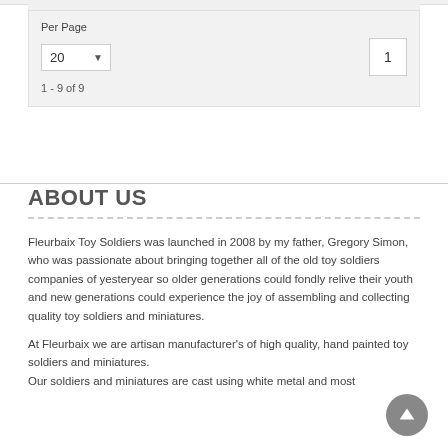Per Page
20
1
1 - 9 of 9
ABOUT US
Fleurbaix Toy Soldiers was launched in 2008 by my father, Gregory Simon, who was passionate about bringing together all of the old toy soldiers companies of yesteryear so older generations could fondly relive their youth and new generations could experience the joy of assembling and collecting quality toy soldiers and miniatures.
At Fleurbaix we are artisan manufacturer's of high quality, hand painted toy soldiers and miniatures.
Our soldiers and miniatures are cast using white metal and most